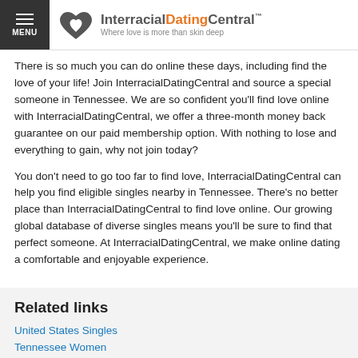MENU | InterracialDatingCentral™ — Where love is more than skin deep
There is so much you can do online these days, including find the love of your life! Join InterracialDatingCentral and source a special someone in Tennessee. We are so confident you'll find love online with InterracialDatingCentral, we offer a three-month money back guarantee on our paid membership option. With nothing to lose and everything to gain, why not join today?
You don't need to go too far to find love, InterracialDatingCentral can help you find eligible singles nearby in Tennessee. There's no better place than InterracialDatingCentral to find love online. Our growing global database of diverse singles means you'll be sure to find that perfect someone. At InterracialDatingCentral, we make online dating a comfortable and enjoyable experience.
Related links
United States Singles
Tennessee Women